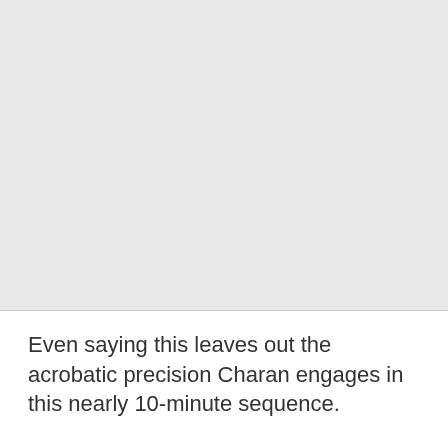[Figure (photo): A large light gray rectangular image placeholder occupying the upper portion of the page.]
Even saying this leaves out the acrobatic precision Charan engages in this nearly 10-minute sequence.